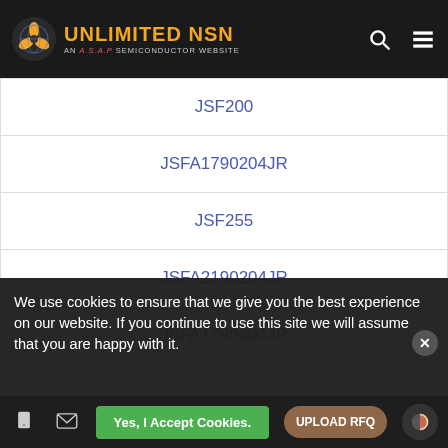UNLIMITED NSN — AN A.S.A.P SEMICONDUCTOR WEBSITE
JSF200
JSFA1790204JR
JSF255
JSFA2190204JR
JSFA1790204JR
JSF8210D9HW-120VAC60HZ
JSF105
We use cookies to ensure that we give you the best experience on our website. If you continue to use this site we will assume that you are happy with it.
Yes, I Accept Cookies.